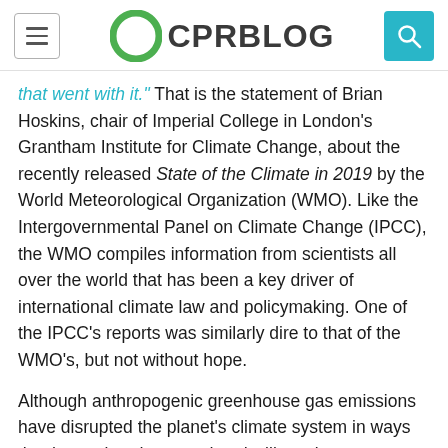CPRBLOG
that went with it." That is the statement of Brian Hoskins, chair of Imperial College in London's Grantham Institute for Climate Change, about the recently released State of the Climate in 2019 by the World Meteorological Organization (WMO). Like the Intergovernmental Panel on Climate Change (IPCC), the WMO compiles information from scientists all over the world that has been a key driver of international climate law and policymaking. One of the IPCC's reports was similarly dire to that of the WMO's, but not without hope.
Although anthropogenic greenhouse gas emissions have disrupted the planet's climate system in ways that have already caused and will continue to cause massive harms all over the world, the IPCC warned, we still have time to